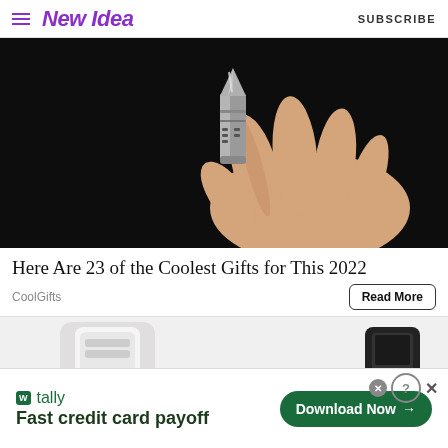New Idea   SUBSCRIBE
[Figure (photo): Close-up of a hand holding a small metallic bullet-shaped multi-tool device against a dark background]
Here Are 23 of the Coolest Gifts for This 2022
CoolGifts
Read More
[Figure (photo): Partial view of a second article image showing white/grey objects on left and dark object on right]
[Figure (screenshot): Tally advertisement banner: Tally logo with 'Fast credit card payoff' tagline and 'Download Now' button]